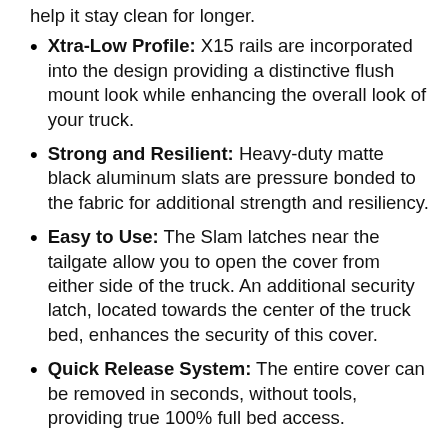help it stay clean for longer.
Xtra-Low Profile: X15 rails are incorporated into the design providing a distinctive flush mount look while enhancing the overall look of your truck.
Strong and Resilient: Heavy-duty matte black aluminum slats are pressure bonded to the fabric for additional strength and resiliency.
Easy to Use: The Slam latches near the tailgate allow you to open the cover from either side of the truck. An additional security latch, located towards the center of the truck bed, enhances the security of this cover.
Quick Release System: The entire cover can be removed in seconds, without tools, providing true 100% full bed access.